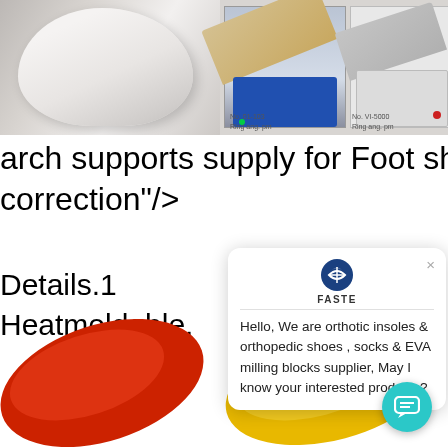[Figure (photo): Top banner with three product images: a white shoe last/orthotic shape on left, a blue vacuum forming machine in the middle, and a white/grey machine on the right. Small captions visible below the middle and right machines.]
arch supports supply for Foot shape
correction"/>
Details.1
Heatmoldable.
[Figure (screenshot): Chat popup widget showing FASTE logo, close (x) button, and message: Hello, We are orthotic insoles & orthopedic shoes , socks & EVA milling blocks supplier, May I know your interested products?]
[Figure (photo): Red orthotic insole at bottom left]
[Figure (photo): Yellow orthotic insole at bottom right]
[Figure (other): Teal/cyan circular chat button at bottom right corner]